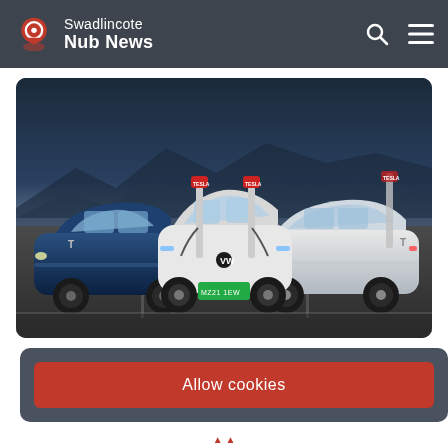Swadlincote Nub News
[Figure (photo): Three electric vehicles parked at Tesla Supercharger stations. A blue Tesla Model X on the left, a white Volkswagen ID.3 in the centre, and a white Tesla Model X on the right. The background shows a dramatic sky and mountainous landscape.]
Allow cookies